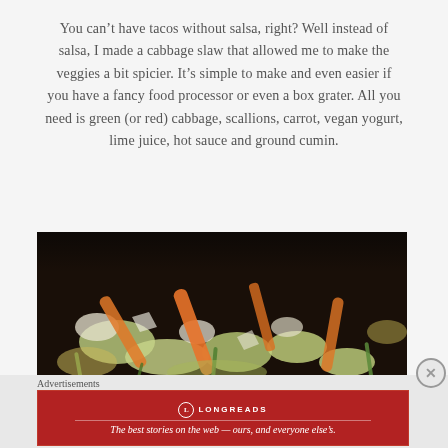You can't have tacos without salsa, right? Well instead of salsa, I made a cabbage slaw that allowed me to make the veggies a bit spicier. It's simple to make and even easier if you have a fancy food processor or even a box grater. All you need is green (or red) cabbage, scallions, carrot, vegan yogurt, lime juice, hot sauce and ground cumin.
[Figure (photo): Close-up photo of a cabbage slaw with shredded green cabbage, orange carrot strips, and green scallions in a dark bowl on a black background.]
Advertisements
[Figure (other): Longreads advertisement banner in red with logo and tagline: The best stories on the web — ours, and everyone else's.]